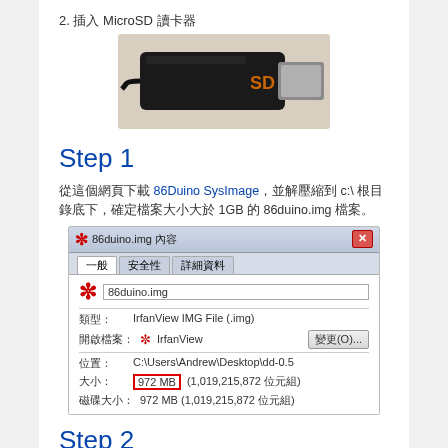2. 插入 MicroSD 讀卡器
[Figure (photo): A black USB MicroSD card reader on a light background]
Step 1
從這個網頁下載 86Duino SysImage，並解壓縮到 c:\ 根目錄底下，確定檔案大小大於 1GB 的 86duino.img 檔案。
[Figure (screenshot): Windows file properties dialog for 86duino.img showing file size 972 MB (1,019,215,872 位元組)]
Step 2